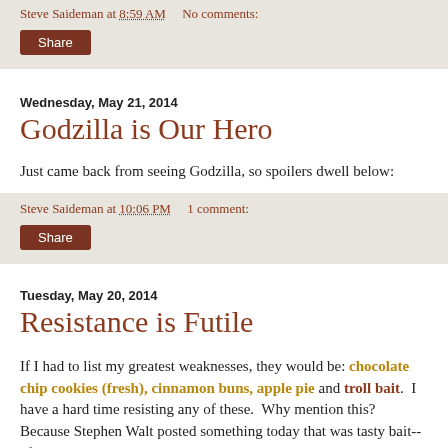Steve Saideman at 8:59 AM   No comments:
Share
Wednesday, May 21, 2014
Godzilla is Our Hero
Just came back from seeing Godzilla, so spoilers dwell below:
Steve Saideman at 10:06 PM   1 comment:
Share
Tuesday, May 20, 2014
Resistance is Futile
If I had to list my greatest weaknesses, they would be: chocolate chip cookies (fresh), cinnamon buns, apple pie and troll bait.  I have a hard time resisting any of these.  Why mention this? Because Stephen Walt posted something today that was tasty bait-- after pointing to Brian IR. His argument about resistance ran as would b